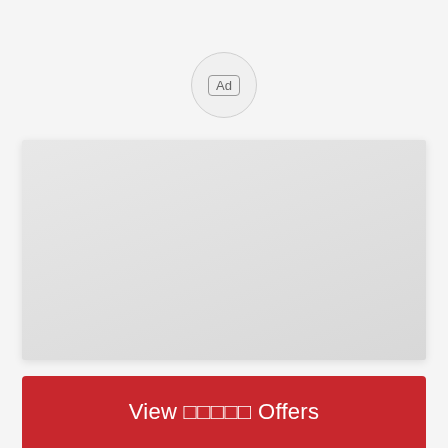[Figure (other): Ad badge icon — circular button with 'Ad' label inside a rounded rectangle, indicating an advertisement]
[Figure (other): Large blank light gray advertisement image placeholder area]
View □□□□□ Offers